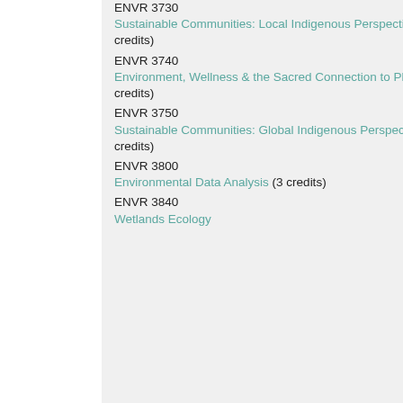ENVR 3730 Sustainable Communities: Local Indigenous Perspective (3 credits)
ENVR 3740 Environment, Wellness & the Sacred Connection to Place (3 credits)
ENVR 3750 Sustainable Communities: Global Indigenous Perspective (3 credits)
ENVR 3800 Environmental Data Analysis (3 credits)
ENVR 3840 Wetlands Ecology